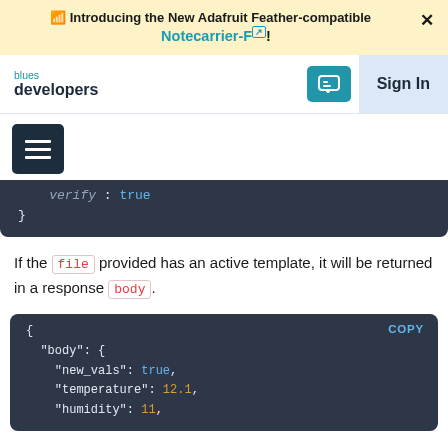🔔 Introducing the New Adafruit Feather-compatible × Notecarrier-F!
[Figure (screenshot): Blues developers navigation bar with chat button and Sign In]
[Figure (screenshot): Hamburger menu button (dark navy)]
verify : true
}
If the file provided has an active template, it will be returned in a response body.
COPY
{
  "body": {
    "new_vals": true,
    "temperature": 12.1,
    "humidity": 11,